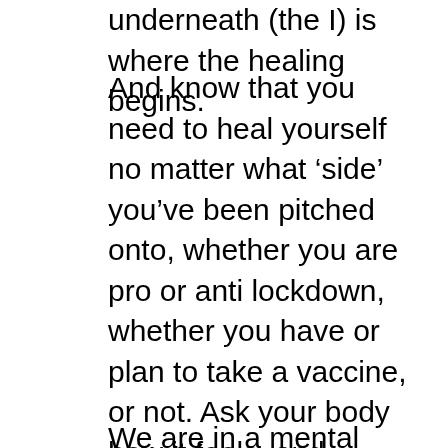underneath (the I) is where the healing begins.
And know that you need to heal yourself no matter what ‘side’ you’ve been pitched onto, whether you are pro or anti lockdown, whether you have or plan to take a vaccine, or not. Ask your body how it feels, and support it to release tension and stress. Then ask your emotional body how does it feel. And do what you need to do to release pain, grief, frustration and anger. Even if it’s just writing a letter and burning it. Or sending a letter to your TD to ask them to make sure that we never have lockdown again. (and if you feel like doing this I would be delighted because I am going to do it too.)
We are in a mental health pandemic. And